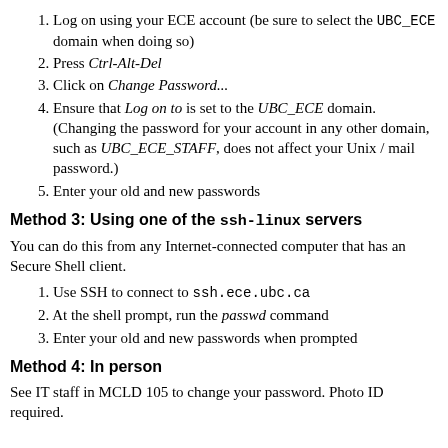1. Log on using your ECE account (be sure to select the UBC_ECE domain when doing so)
2. Press Ctrl-Alt-Del
3. Click on Change Password...
4. Ensure that Log on to is set to the UBC_ECE domain. (Changing the password for your account in any other domain, such as UBC_ECE_STAFF, does not affect your Unix / mail password.)
5. Enter your old and new passwords
Method 3: Using one of the ssh-linux servers
You can do this from any Internet-connected computer that has an Secure Shell client.
1. Use SSH to connect to ssh.ece.ubc.ca
2. At the shell prompt, run the passwd command
3. Enter your old and new passwords when prompted
Method 4: In person
See IT staff in MCLD 105 to change your password. Photo ID required.